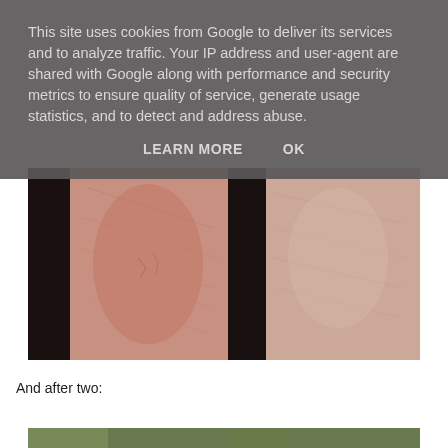This site uses cookies from Google to deliver its services and to analyze traffic. Your IP address and user-agent are shared with Google along with performance and security metrics to ensure quality of service, generate usage statistics, and to detect and address abuse.
LEARN MORE   OK
[Figure (photo): Close-up photograph of human fingers/knuckles showing dry, cracked skin texture with redness, viewed from above against a dark background.]
And after two:
[Figure (photo): Partial view of another close-up photograph at the bottom of the page, partially cropped.]